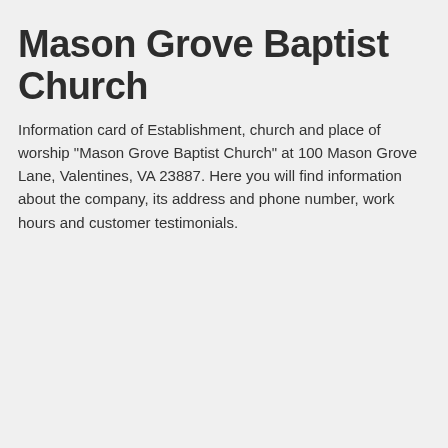Mason Grove Baptist Church
Information card of Establishment, church and place of worship "Mason Grove Baptist Church" at 100 Mason Grove Lane, Valentines, VA 23887. Here you will find information about the company, its address and phone number, work hours and customer testimonials.